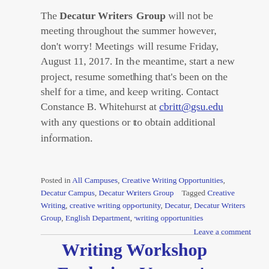The Decatur Writers Group will not be meeting throughout the summer however, don't worry! Meetings will resume Friday, August 11, 2017. In the meantime, start a new project, resume something that's been on the shelf for a time, and keep writing. Contact Constance B. Whitehurst at cbritt@gsu.edu with any questions or to obtain additional information.
Posted in All Campuses, Creative Writing Opportunities, Decatur Campus, Decatur Writers Group   Tagged Creative Writing, creative writing opportunity, Decatur, Decatur Writers Group, English Department, writing opportunities
Leave a comment
Writing Workshop Exploring Veteran's